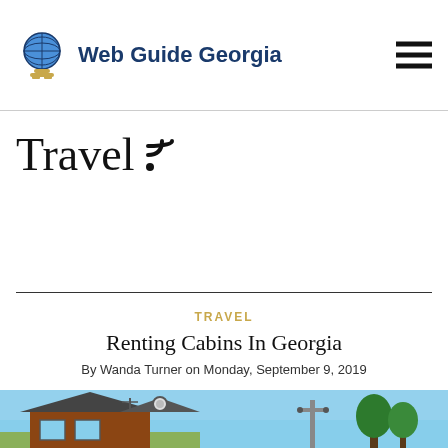Web Guide Georgia
Travel
TRAVEL
Renting Cabins In Georgia
By Wanda Turner on Monday, September 9, 2019
[Figure (photo): Wooden cabin with dark slate roof, round window, and a utility pole in the background under a blue sky]